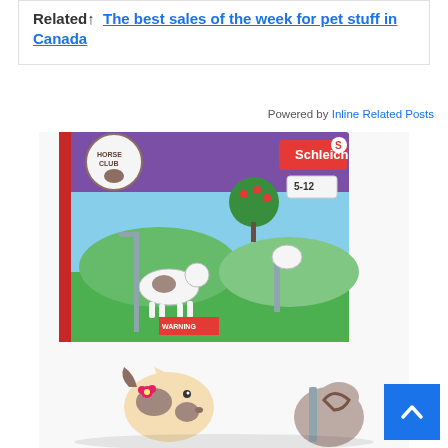Related↑  The best sales of the week for pet stuff in Canada
Powered by Inline Related Posts
[Figure (photo): Schleich Horse Club toy set product box showing horses being washed outdoors, age 5-12, with toy figurines visible in foreground]
[Figure (other): Blue scroll-to-top button with upward arrow chevron]